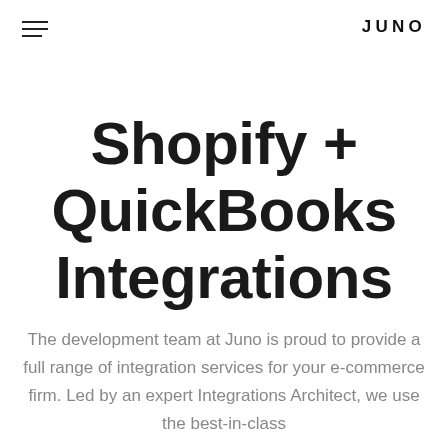JUNO
Shopify + QuickBooks Integrations
The development team at Juno is proud to provide a full range of integration services for your e-commerce firm. Led by an expert Integrations Architect, we use the best-in-class